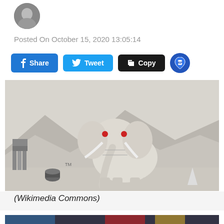[Figure (photo): Circular avatar/profile photo of a person in dark clothing]
Posted On October 15, 2020 13:05:14
[Figure (infographic): Social sharing buttons: Facebook Share (blue), Twitter Tweet (light blue), Copy (black), and a round RP location-pin button (dark blue)]
[Figure (illustration): A mechanical/robotic elephant illustration (pencil drawing style) standing in a barren desert landscape with industrial structures in the background, mountains visible, styled as a surrealist artwork.]
(Wikimedia Commons)
[Figure (photo): Partial view of a bottom photo, appears to show a crowd or event scene with red and blue colors]